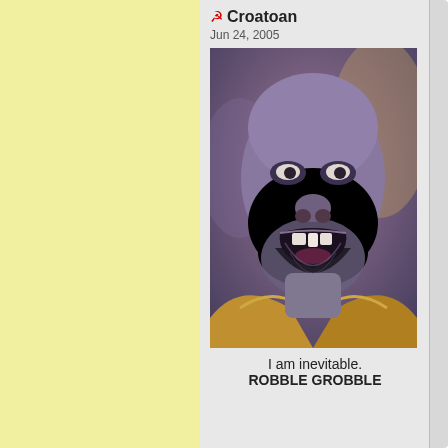☭ Croatoan
Jun 24, 2005
[Figure (photo): Thanos (purple alien character) with mouth wide open, wearing golden armor, in a dramatic pose against a smoky background]
I am inevitable.
ROBBLE GROBBLE